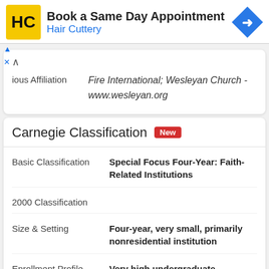[Figure (logo): Hair Cuttery advertisement banner with HC logo, 'Book a Same Day Appointment' text, 'Hair Cuttery' subtext, and a blue navigation arrow icon]
| Field | Value |
| --- | --- |
| Religious Affiliation | Fire International; Wesleyan Church - www.wesleyan.org |
Carnegie Classification New
| Classification Type | Value |
| --- | --- |
| Basic Classification | Special Focus Four-Year: Faith-Related Institutions |
| 2000 Classification |  |
| Size & Setting | Four-year, very small, primarily nonresidential institution |
| Enrollment Profile | Very high undergraduate |